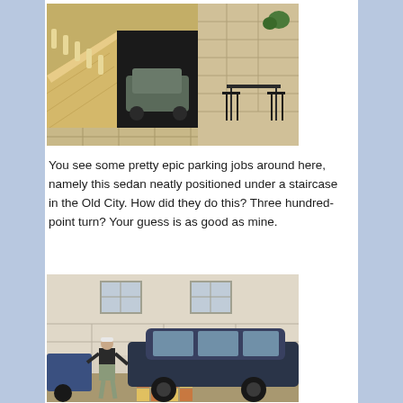[Figure (photo): A sedan parked under a staircase in the Old City. Stone staircase with ornate balusters on the left, stone wall on the right, a car is parked in the shadowed space beneath the stairs. Outdoor furniture (table and chairs) visible on the right side.]
You see some pretty epic parking jobs around here, namely this sedan neatly positioned under a staircase in the Old City. How did they do this? Three hundred-point turn? Your guess is as good as mine.
[Figure (photo): A man in shorts and a dark shirt standing next to a dark blue compact car (hatchback) parked against a white stone building. The man is touching the car door. Colorful paving tiles visible underneath.]